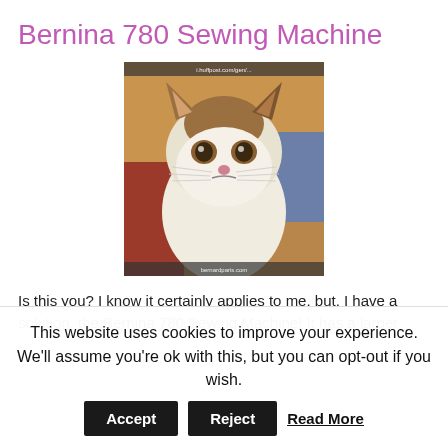Bernina 780 Sewing Machine
[Figure (photo): A grumpy-looking cat (Grumpy Cat meme) sitting with a displeased facial expression, fur is white and brown/tan, with a URL watermark visible at top and bottom of the photo.]
Is this you? I know it certainly applies to me, but, I have a solution, the Bernina 780 Sewing Machine! It has a larger
This website uses cookies to improve your experience. We'll assume you're ok with this, but you can opt-out if you wish.